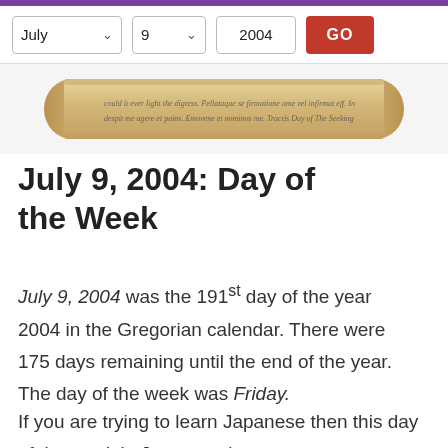July  9  2004  GO
[Figure (illustration): Decorative scroll/parchment image with cursive text on a rolled paper scroll]
July 9, 2004: Day of the Week
July 9, 2004 was the 191st day of the year 2004 in the Gregorian calendar. There were 175 days remaining until the end of the year. The day of the week was Friday.
If you are trying to learn Japanese then this day of the week in Japanese is